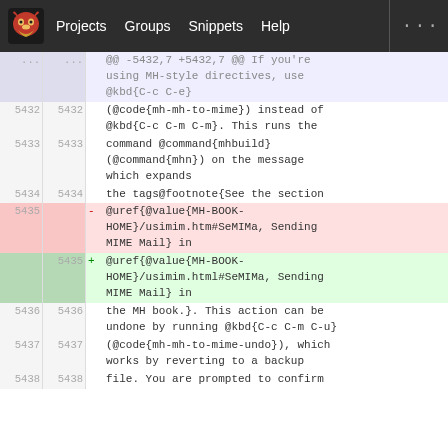GNU Emacs GitLab diff view — navbar with Projects, Groups, Snippets, Help
| old_ln | new_ln | sign | code |
| --- | --- | --- | --- |
| ... | ... |  | @@ -5432,7 +5432,7 @@ If you're using MH-style directives, use @kbd{C-c C-e} |
| 5432 | 5432 |  | (@code{mh-mh-to-mime}) instead of @kbd{C-c C-m C-m}. This runs the |
| 5433 | 5433 |  | command @command{mhbuild} (@command{mhn}) on the message which expands |
| 5434 | 5434 |  | the tags@footnote{See the section |
| 5435 |  | - | @uref{@value{MH-BOOK-HOME}/usimim.htm#SeMIMa, Sending MIME Mail} in |
|  | 5435 | + | @uref{@value{MH-BOOK-HOME}/usimim.html#SeMIMa, Sending MIME Mail} in |
| 5436 | 5436 |  | the MH book.}. This action can be undone by running @kbd{C-c C-m C-u} |
| 5437 | 5437 |  | (@code{mh-mh-to-mime-undo}), which works by reverting to a backup |
| 5438 | 5438 |  | file. You are prompted to confirm |